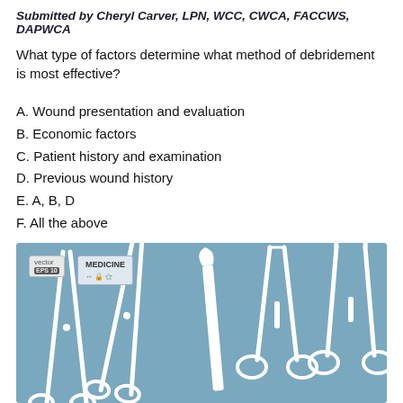Submitted by Cheryl Carver, LPN, WCC, CWCA, FACCWS, DAPWCA
What type of factors determine what method of debridement is most effective?
A. Wound presentation and evaluation
B. Economic factors
C. Patient history and examination
D. Previous wound history
E. A, B, D
F. All the above
[Figure (illustration): Vector illustration of surgical/medical instruments including scissors, scalpel, forceps and clamps on a blue-grey background, with 'vector EPS 10' and 'MEDICINE' labels in upper left corner.]